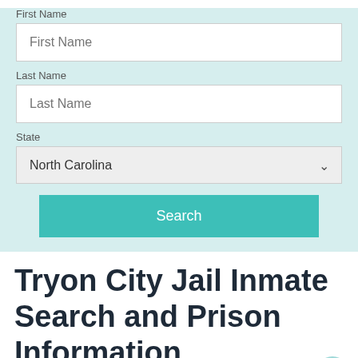[Figure (screenshot): Web form with First Name text input, Last Name text input, State dropdown set to North Carolina, and a teal Search button, on a light teal background]
Tryon City Jail Inmate Search and Prison Information
Updated on: June 17, 2022